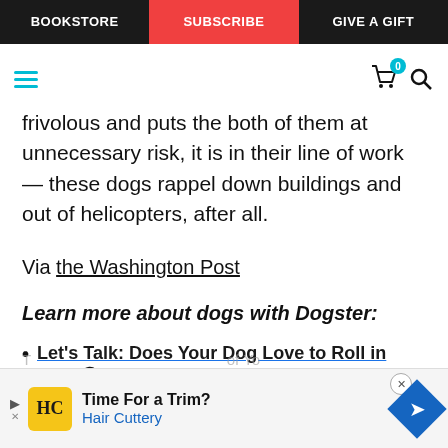BOOKSTORE | SUBSCRIBE | GIVE A GIFT
frivolous and puts the both of them at unnecessary risk, it is in their line of work — these dogs rappel down buildings and out of helicopters, after all.
Via the Washington Post
Learn more about dogs with Dogster:
Let's Talk: Does Your Dog Love to Roll in Stink...
[Figure (screenshot): Advertisement banner for Hair Cuttery: 'Time For a Trim?' with HC logo and navigation arrow icon]